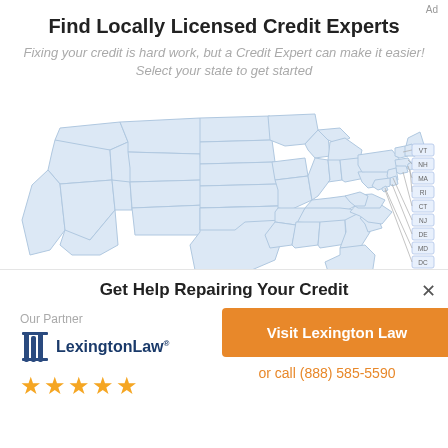Ad
Find Locally Licensed Credit Experts
Fixing your credit is hard work, but a Credit Expert can make it easier! Select your state to get started
[Figure (map): Interactive choropleth map of the United States with light blue state outlines. Small state labels are shown on the right side for VT, NH, MA, RI, CT, NJ, DE, MD, DC.]
Get Help Repairing Your Credit
Our Partner
[Figure (logo): Lexington Law logo with stylized torch/pillar icon in blue and the text LexingtonLaw with a registered trademark dot]
[Figure (other): Five orange star rating icons]
Visit Lexington Law
or call (888) 585-5590